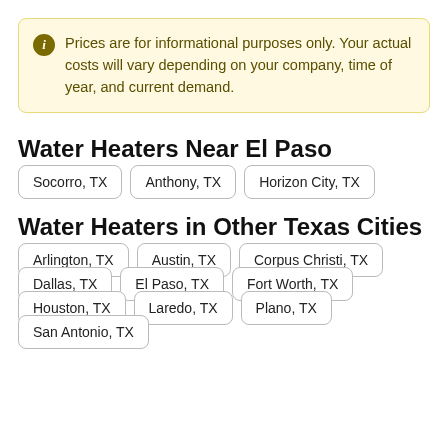Prices are for informational purposes only. Your actual costs will vary depending on your company, time of year, and current demand.
Water Heaters Near El Paso
Socorro, TX
Anthony, TX
Horizon City, TX
Water Heaters in Other Texas Cities
Arlington, TX
Austin, TX
Corpus Christi, TX
Dallas, TX
El Paso, TX
Fort Worth, TX
Houston, TX
Laredo, TX
Plano, TX
San Antonio, TX